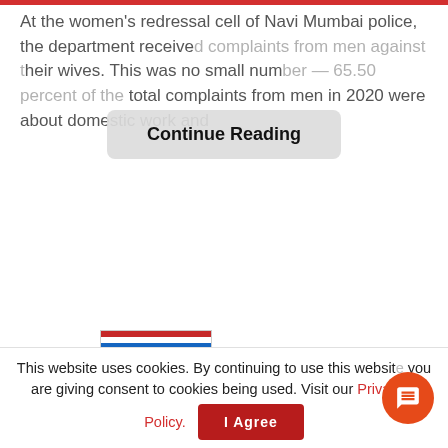At the women's redressal cell of Navi Mumbai police, the department received complaints from men against their wives. This was no small number — 65.50 percent of the total complaints from men in 2020 were about domestic work and
Continue Reading
[Figure (screenshot): BitLife - Life Simulator app advertisement image showing a game screenshot with smiley face and game UI]
BitLife - Life Simulator
Ad  Candywriter, LLC
[Figure (illustration): Circular illustration of a decorative bird or floral design on white background inside a bordered content box]
This website uses cookies. By continuing to use this website you are giving consent to cookies being used. Visit our Privacy a... Policy.
I Agree